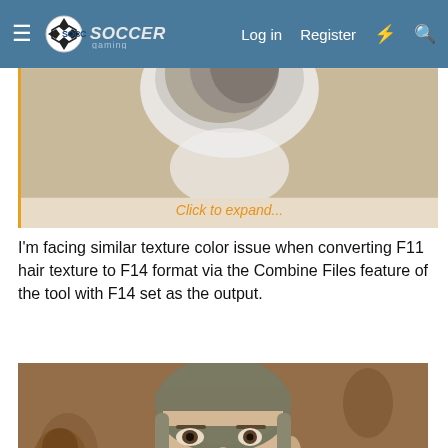Soccer Gaming — Log in | Register
[Figure (screenshot): Collapsed image box showing partial hair texture preview with 'Click to expand...' link]
I'm facing similar texture color issue when converting F11 hair texture to F14 format via the Combine Files feature of the tool with F14 set as the output.
[Figure (screenshot): 3D rendered soccer player face with short hair showing texture color issue — hair appears grayish/dark olive on a brown textured background]